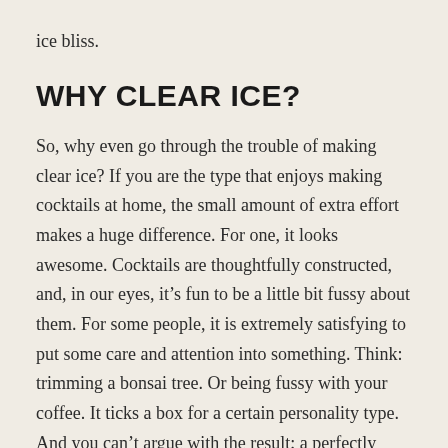ice bliss.
WHY CLEAR ICE?
So, why even go through the trouble of making clear ice? If you are the type that enjoys making cocktails at home, the small amount of extra effort makes a huge difference. For one, it looks awesome. Cocktails are thoughtfully constructed, and, in our eyes, it’s fun to be a little bit fussy about them. For some people, it is extremely satisfying to put some care and attention into something. Think: trimming a bonsai tree. Or being fussy with your coffee. It ticks a box for a certain personality type. And you can’t argue with the result; a perfectly clear ice cube is a thing of beauty.
In short, many will think clear ice is not “worth it,” but we